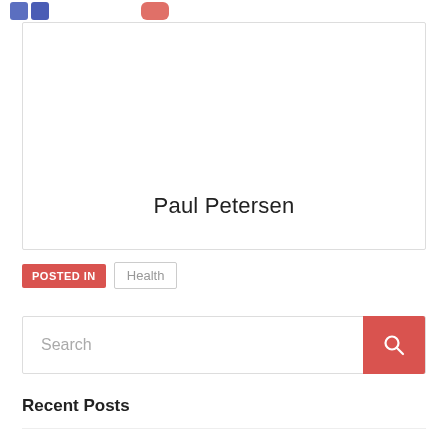social icons and navigation header
[Figure (illustration): Large white card/box with the author name 'Paul Petersen' centered near the bottom]
Paul Petersen
POSTED IN  Health
Search
Recent Posts